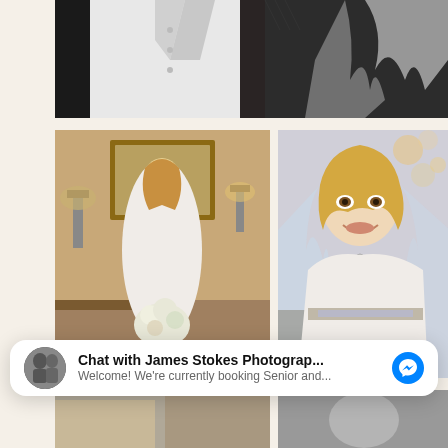[Figure (photo): Black and white photo showing a couple in wedding attire — groom in white shirt/dark tuxedo on the left, bride in white dress/veil on the right]
[Figure (photo): Color photo of a bride in a white strapless wedding gown holding a bouquet of white flowers, standing in an elegant room with a mirror and lamp]
[Figure (photo): Close-up color photo of a smiling bride with blonde hair wearing a white strapless gown and veil, with blue-toned background]
Chat with James Stokes Photograp... Welcome! We're currently booking Senior and...
[Figure (photo): Partially visible photos at the bottom of the page]